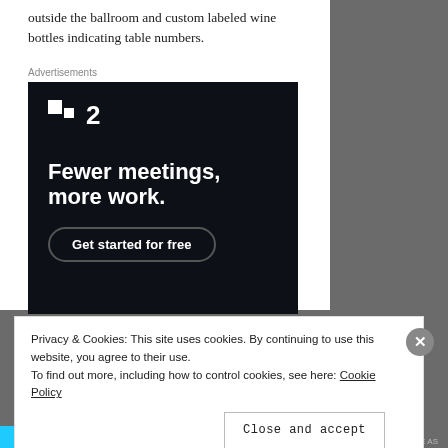outside the ballroom and custom labeled wine bottles indicating table numbers.
Advertisements
[Figure (screenshot): Advertisement for a project management tool. Dark background with white logo showing two squares and the number 2. Headline reads 'Fewer meetings, more work.' with a 'Get started for free' button.]
Privacy & Cookies: This site uses cookies. By continuing to use this website, you agree to their use.
To find out more, including how to control cookies, see here: Cookie Policy
Close and accept